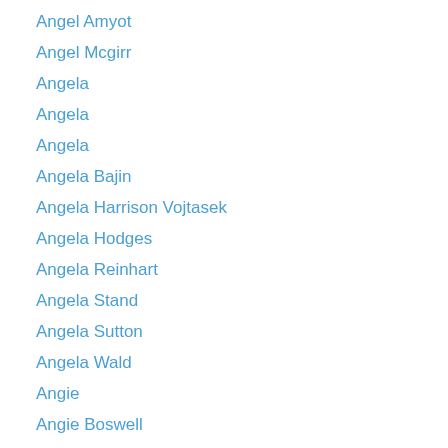Angel Amyot
Angel Mcgirr
Angela
Angela
Angela
Angela Bajin
Angela Harrison Vojtasek
Angela Hodges
Angela Reinhart
Angela Stand
Angela Sutton
Angela Wald
Angie
Angie Boswell
Angie Rose Meyer
Angie Santos
Angila Cardona Waddell
Anglia Morgan
Anita
Ankush Vij